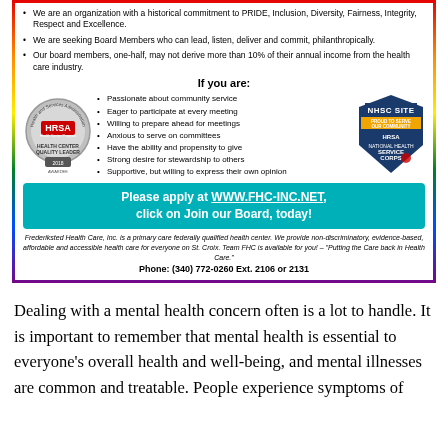We are an organization with a historical commitment to PRIDE, Inclusion, Diversity, Fairness, Integrity, Respect and Excellence.
We are seeking Board Members who can lead, listen, deliver and commit, philanthropically.
Our board members, one-half, may not derive more than 10% of their annual income from the health care industry.
If you are:
Passionate about community service
Eager to participate at every meeting
Willing to prepare ahead for meetings
Anxious to serve on committees
Have the ability and propensity to give
Strong desire for stewardship to others
Supportive, but willing to express their own opinion
[Figure (logo): HRSA Health Center Quality Leader 2018 Award badge]
[Figure (logo): NHSC Site Proud to Serve Our Community HRSA National Health Service Corps badge]
Please apply at WWW.FHC-INC.NET, click on Join our Board, today!
Frederiksted Health Care, Inc. is a primary care federally qualified health center. We provide non-discriminatory, evidence-based, affordable and accessible health care for everyone on St. Croix. Team FHC is available for you! – "Putting the Care back in Health Care."
Phone: (340) 772-0260 Ext. 2106 or 2131
Dealing with a mental health concern often is a lot to handle. It is important to remember that mental health is essential to everyone's overall health and well-being, and mental illnesses are common and treatable. People experience symptoms of